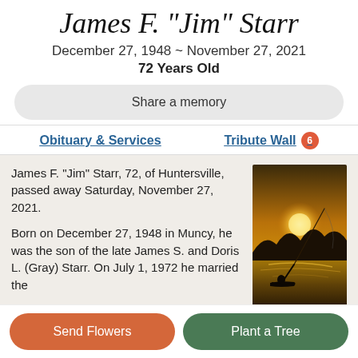James F. "Jim" Starr
December 27, 1948 ~ November 27, 2021
72 Years Old
Share a memory
Obituary & Services
Tribute Wall 6
James F. "Jim" Starr, 72, of Huntersville, passed away Saturday, November 27, 2021.

Born on December 27, 1948 in Muncy, he was the son of the late James S. and Doris L. (Gray) Starr. On July 1, 1972 he married the former Maxine Buck and they have
[Figure (photo): Silhouette of a person fishing at sunset on a lake, warm golden tones]
Send Flowers
Plant a Tree